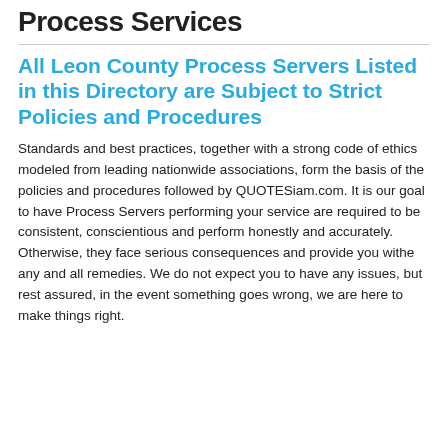Process Services
All Leon County Process Servers Listed in this Directory are Subject to Strict Policies and Procedures
Standards and best practices, together with a strong code of ethics modeled from leading nationwide associations, form the basis of the policies and procedures followed by QUOTESiam.com. It is our goal to have Process Servers performing your service are required to be consistent, conscientious and perform honestly and accurately. Otherwise, they face serious consequences and provide you withe any and all remedies. We do not expect you to have any issues, but rest assured, in the event something goes wrong, we are here to make things right.